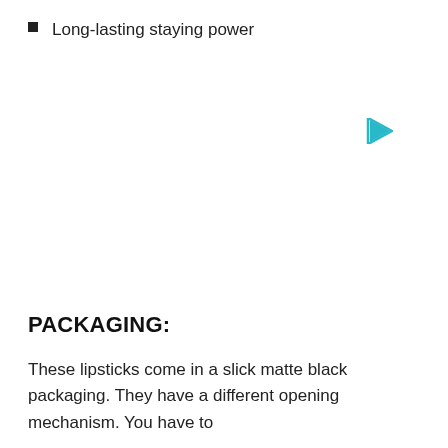Long-lasting staying power
[Figure (illustration): A cyan/teal right-pointing play triangle icon]
PACKAGING:
These lipsticks come in a slick matte black packaging. They have a different opening mechanism. You have to